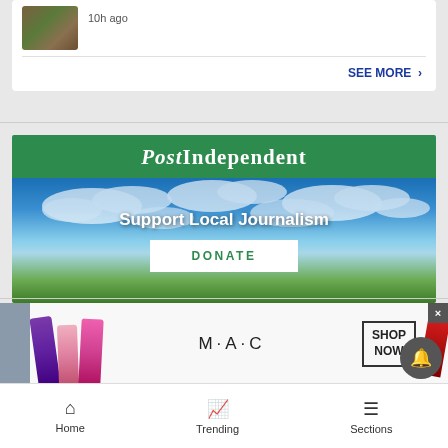[Figure (screenshot): Thumbnail image of plants/foliage]
10h ago
SEE MORE ›
[Figure (illustration): PostIndependent 'Support Local Journalism' donation banner with green header and sky/landscape background with DONATE button]
[Figure (photo): M·A·C cosmetics advertisement showing colorful lipsticks with SHOP NOW button]
Home   Trending   Sections